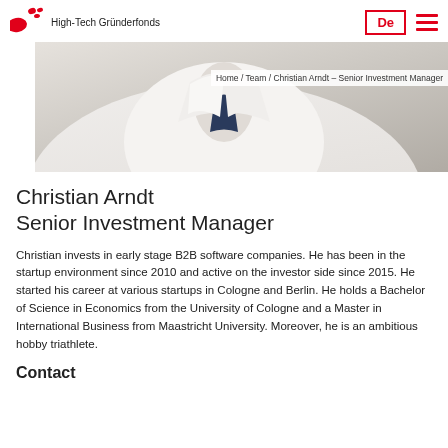High-Tech Gründerfonds
[Figure (photo): Close-up photo of a person wearing a white shirt and dark tie, cropped to show neck/chest area]
Home / Team / Christian Arndt – Senior Investment Manager
Christian Arndt
Senior Investment Manager
Christian invests in early stage B2B software companies. He has been in the startup environment since 2010 and active on the investor side since 2015. He started his career at various startups in Cologne and Berlin. He holds a Bachelor of Science in Economics from the University of Cologne and a Master in International Business from Maastricht University. Moreover, he is an ambitious hobby triathlete.
Contact